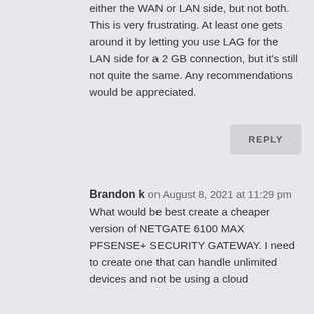either the WAN or LAN side, but not both. This is very frustrating. At least one gets around it by letting you use LAG for the LAN side for a 2 GB connection, but it's still not quite the same. Any recommendations would be appreciated.
REPLY
Brandon k on August 8, 2021 at 11:29 pm
What would be best create a cheaper version of NETGATE 6100 MAX PFSENSE+ SECURITY GATEWAY. I need to create one that can handle unlimited devices and not be using a cloud...